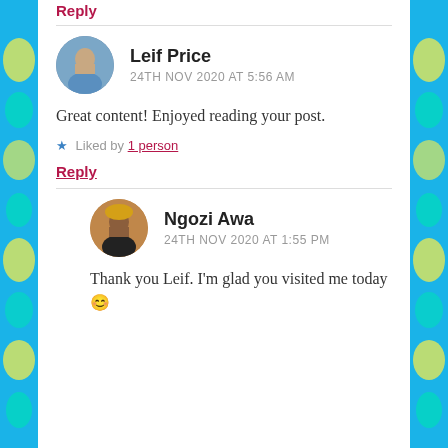Reply
Leif Price
24TH NOV 2020 AT 5:56 AM
Great content! Enjoyed reading your post.
★ Liked by 1 person
Reply
Ngozi Awa
24TH NOV 2020 AT 1:55 PM
Thank you Leif. I'm glad you visited me today 😊